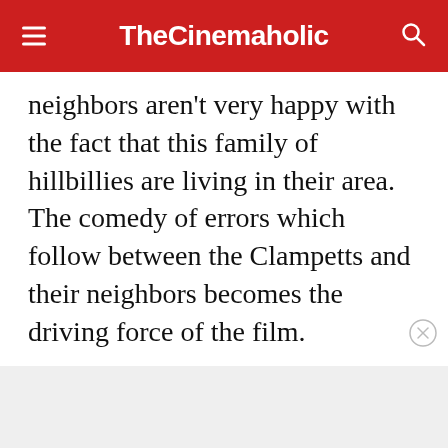TheCinemaholic
neighbors aren't very happy with the fact that this family of hillbillies are living in their area. The comedy of errors which follow between the Clampetts and their neighbors becomes the driving force of the film.
ADVERTISEMENT